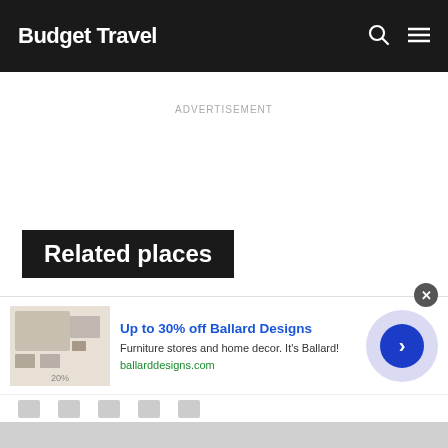Budget Travel
ADVERTISEMENT
Related places
[Figure (photo): Street photo of Berlin, Maryland showing brick storefronts and blue sky with clouds]
USA · MARYLAND
Berlin
[Figure (screenshot): Advertisement banner for Ballard Designs: 'Up to 30% off Ballard Designs — Furniture stores and home decor. It's Ballard! ballarddesigns.com']